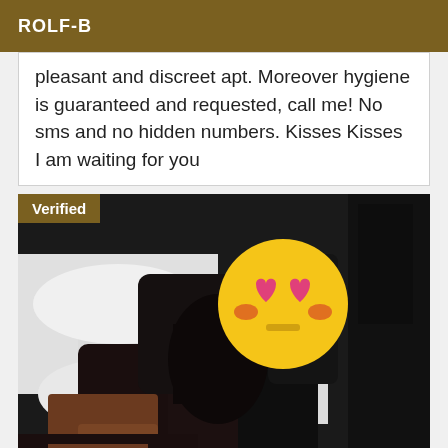ROLF-B
pleasant and discreet apt. Moreover hygiene is guaranteed and requested, call me! No sms and no hidden numbers. Kisses Kisses I am waiting for you
[Figure (photo): Person posing on a white bed wearing black clothing, face obscured by a yellow heart-eyes emoji sticker. A 'Verified' badge appears in the top-left corner of the image.]